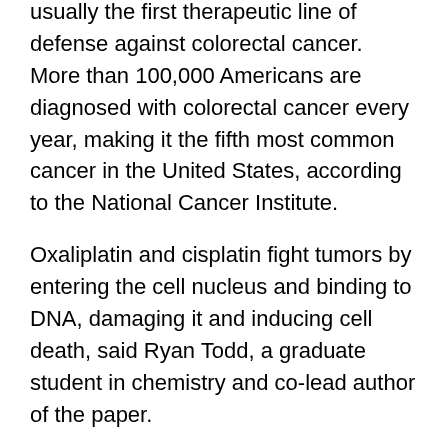usually the first therapeutic line of defense against colorectal cancer. More than 100,000 Americans are diagnosed with colorectal cancer every year, making it the fifth most common cancer in the United States, according to the National Cancer Institute.
Oxaliplatin and cisplatin fight tumors by entering the cell nucleus and binding to DNA, damaging it and inducing cell death, said Ryan Todd, a graduate student in chemistry and co-lead author of the paper.
cDPCP kills cells in a similar way. However, the key difference is that while oxaliplatin and cisplatin can enter almost any cell, causing harmful side effects, cDPCP requires the assistance of organic cation transporters (OCTs) embedded in the cell membrane.